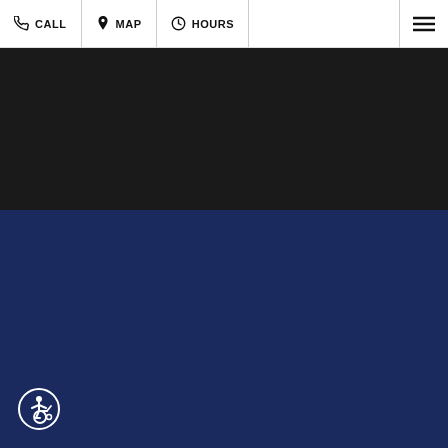CALL | MAP | HOURS | [menu]
[Figure (screenshot): Dark black background section below navigation bar]
[Figure (screenshot): Navy blue background section with wheelchair accessibility icon in the bottom-left corner]